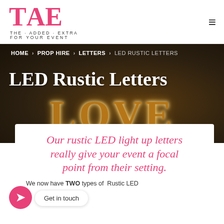[Figure (logo): TAE - The Added Extra For Your Event logo in pink serif font]
[Figure (photo): Dark background photo showing illuminated rustic LED LOVE letters with warm golden glow]
HOME > PROP HIRE > LETTERS > LED RUSTIC LETTERS
LED Rustic Letters
Our rustic LED light up letters really give your event a focal point from their setting.
We now have TWO types of Rustic LED
Get in touch